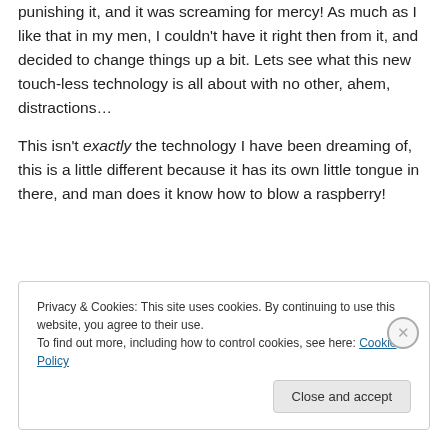punishing it, and it was screaming for mercy! As much as I like that in my men, I couldn't have it right then from it, and decided to change things up a bit. Lets see what this new touch-less technology is all about with no other, ahem, distractions…
This isn't exactly the technology I have been dreaming of, this is a little different because it has its own little tongue in there, and man does it know how to blow a raspberry!
Privacy & Cookies: This site uses cookies. By continuing to use this website, you agree to their use. To find out more, including how to control cookies, see here: Cookie Policy